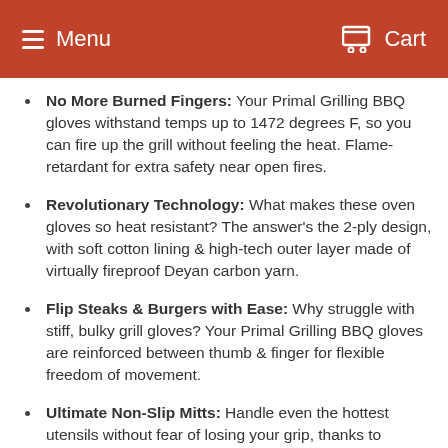Menu   Cart
No More Burned Fingers: Your Primal Grilling BBQ gloves withstand temps up to 1472 degrees F, so you can fire up the grill without feeling the heat. Flame-retardant for extra safety near open fires.
Revolutionary Technology: What makes these oven gloves so heat resistant? The answer's the 2-ply design, with soft cotton lining & high-tech outer layer made of virtually fireproof Deyan carbon yarn.
Flip Steaks & Burgers with Ease: Why struggle with stiff, bulky grill gloves? Your Primal Grilling BBQ gloves are reinforced between thumb & finger for flexible freedom of movement.
Ultimate Non-Slip Mitts: Handle even the hottest utensils without fear of losing your grip, thanks to textured gel dots on the palms of your grill mitts. This silica gel is famous for super-firm hold.